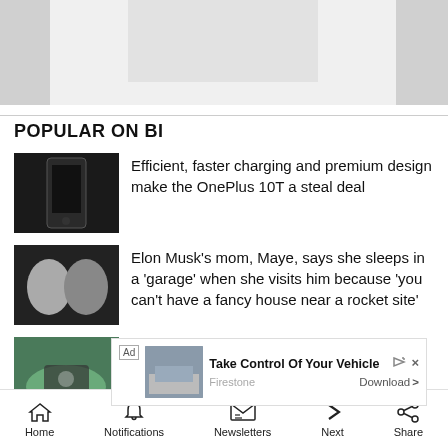[Figure (photo): Top banner area with partial images on left and right and a center advertisement image]
POPULAR ON BI
[Figure (photo): OnePlus 10T smartphone product photo on dark background]
Efficient, faster charging and premium design make the OnePlus 10T a steal deal
[Figure (photo): Elon Musk and his mom Maye Musk in formal attire]
Elon Musk's mom, Maye, says she sleeps in a 'garage' when she visits him because 'you can't have a fancy house near a rocket site'
[Figure (photo): Dolphin underwater with GoPro footage]
A dolphin's GoPro video shows it eating 8 venomous sea snakes, and scientists aren't sure why
Ad Take Control Of Your Vehicle Firestone Download >
LATES
Home  Notifications  Newsletters  Next  Share